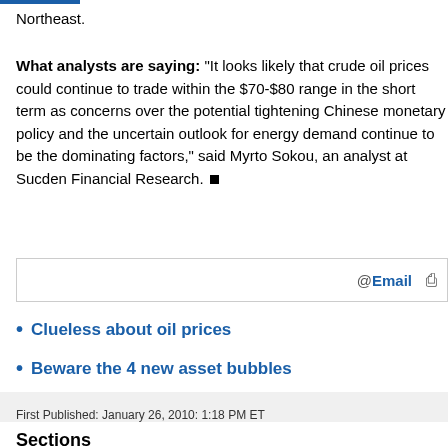Northeast.
What analysts are saying: "It looks likely that crude oil prices could continue to trade within the $70-$80 range in the short term as concerns over the potential tightening Chinese monetary policy and the uncertain outlook for energy demand continue to be the dominating factors," said Myrto Sokou, an analyst at Sucden Financial Research.
Clueless about oil prices
Beware the 4 new asset bubbles
First Published: January 26, 2010: 1:18 PM ET
Sections